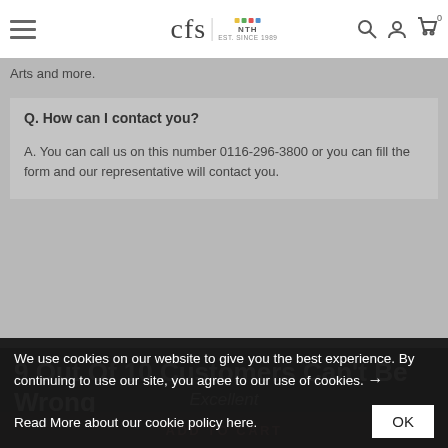cfs EST. SINCE 1989 [navigation header with hamburger menu, search, account, and cart icons]
Arts and more.
Q. How can I contact you?
A. You can call us on this number 0116-296-3800 or you can fill the form and our representative will contact you.
9 Out Of 10 Customers Can't Be Wrong
Excellent
ADD TO CART
We use cookies on our website to give you the best experience. By continuing to use our site, you agree to our use of cookies.
Read More about our cookie policy here.
OK